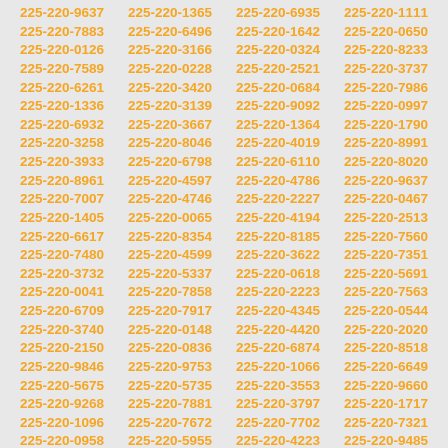225-220-9637 225-220-1365 225-220-6935 225-220-1111 225-220-7883 225-220-6496 225-220-1642 225-220-0650 225-220-0126 225-220-3166 225-220-0324 225-220-8233 225-220-7589 225-220-0228 225-220-2521 225-220-3737 225-220-6261 225-220-3420 225-220-0684 225-220-7986 225-220-1336 225-220-3139 225-220-9092 225-220-0997 225-220-6932 225-220-3667 225-220-1364 225-220-1790 225-220-3258 225-220-8046 225-220-4019 225-220-8991 225-220-3933 225-220-6798 225-220-6110 225-220-8020 225-220-8961 225-220-4597 225-220-4786 225-220-9637 225-220-7007 225-220-4746 225-220-2227 225-220-0467 225-220-1405 225-220-0065 225-220-4194 225-220-2513 225-220-6617 225-220-8354 225-220-8185 225-220-7560 225-220-7480 225-220-4599 225-220-3622 225-220-7351 225-220-3732 225-220-5337 225-220-0618 225-220-5691 225-220-0041 225-220-7858 225-220-2223 225-220-7563 225-220-6709 225-220-7917 225-220-4345 225-220-0544 225-220-3740 225-220-0148 225-220-4420 225-220-2020 225-220-2150 225-220-0836 225-220-6874 225-220-8518 225-220-9846 225-220-9753 225-220-1066 225-220-6649 225-220-5675 225-220-5735 225-220-3553 225-220-9660 225-220-9268 225-220-7881 225-220-3797 225-220-1717 225-220-1096 225-220-7672 225-220-7702 225-220-7321 225-220-0958 225-220-5955 225-220-4223 225-220-9485 225-220-3118 225-220-6734 225-220-2149 225-220-0908 225-220-3653 225-220-6430 225-220-8071 225-220-5407 225-220-8186 225-220-5418 225-220-0424 225-220-2595 225-220-0980 225-220-7553 225-220-0072 225-220-4918 225-220-8202 225-220-5564 225-220-2996 225-220-9232 225-220-2362 225-220-3859 225-220-7557 225-220-2536 225-220-1000 225-220-7294 225-220-4078 225-220-3444